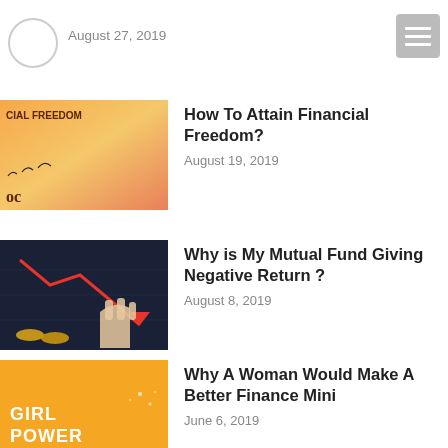August 27, 2019
[Figure (illustration): Thumbnail image for financial freedom article - sunset with birds and text CIAL FREEDOM]
How To Attain Financial Freedom?
August 19, 2019
[Figure (illustration): Thumbnail for mutual fund article - dark background with red downward arrow chart and hand gesture]
Why is My Mutual Fund Giving Negative Return ?
August 8, 2019
[Figure (illustration): Thumbnail for woman finance article - orange background with GIRL POWER text]
Why A Woman Would Make A Better Finance Mini
June 6, 2019